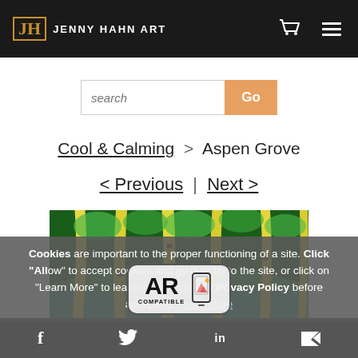JH JENNY HAHN ART
search
Go
Cool & Calming > Aspen Grove
< Previous | Next >
[Figure (photo): Painting of aspen grove with yellow tree trunks and green foliage background]
Cookies are important to the proper functioning of a site. Click "Allow" to accept cookies and go directly to the site, or click on "Learn More" to learn more about our Privacy Policy before accepting. Learn More
[Figure (logo): AR Compatible badge with mountain/phone icon]
f  Twitter  in  Email social share icons